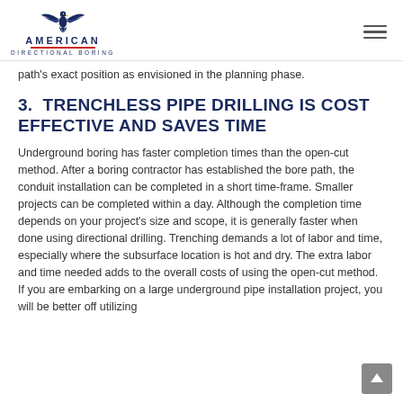AMERICAN DIRECTIONAL BORING
path's exact position as envisioned in the planning phase.
3. TRENCHLESS PIPE DRILLING IS COST EFFECTIVE AND SAVES TIME
Underground boring has faster completion times than the open-cut method. After a boring contractor has established the bore path, the conduit installation can be completed in a short time-frame. Smaller projects can be completed within a day. Although the completion time depends on your project's size and scope, it is generally faster when done using directional drilling. Trenching demands a lot of labor and time, especially where the subsurface location is hot and dry. The extra labor and time needed adds to the overall costs of using the open-cut method. If you are embarking on a large underground pipe installation project, you will be better off utilizing